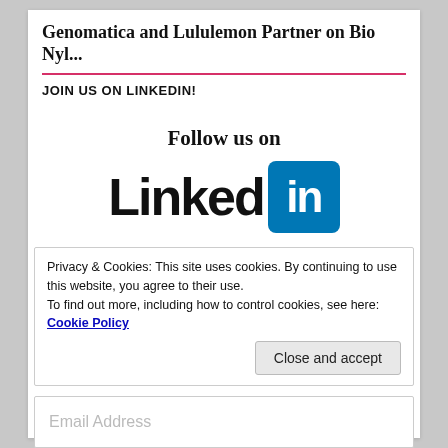Genomatica and Lululemon Partner on Bio Nyl...
JOIN US ON LINKEDIN!
[Figure (logo): LinkedIn logo with text 'Follow us on' above and the LinkedIn wordmark with blue 'in' icon box]
Privacy & Cookies: This site uses cookies. By continuing to use this website, you agree to their use.
To find out more, including how to control cookies, see here: Cookie Policy
Close and accept
Email Address